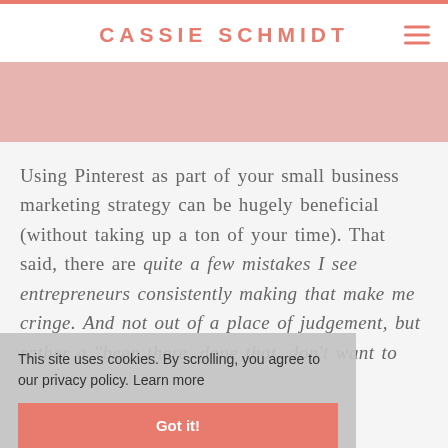CASSIE SCHMIDT
Using Pinterest as part of your small business marketing strategy can be hugely beneficial (without taking up a ton of your time). That said, there are quite a few mistakes I see entrepreneurs consistently making that make me cringe. And not out of a place of judgement, but rather a “been there, done that, don’t want to
This site uses cookies. By scrolling, you agree to our privacy policy. Learn more
Got it!